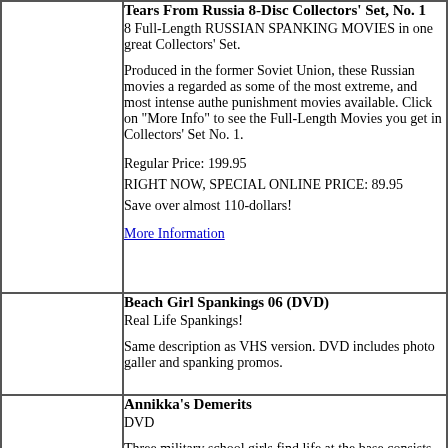| [image] | Tears From Russia 8-Disc Collectors' Set, No. 1
8 Full-Length RUSSIAN SPANKING MOVIES in one great Collectors' Set.

Produced in the former Soviet Union, these Russian movies a... regarded as some of the most extreme, and most intense authe... punishment movies available. Click on "More Info" to see the Full-Length Movies you get in Collectors' Set No. 1.

Regular Price: 199.95
RIGHT NOW, SPECIAL ONLINE PRICE: 89.95
Save over almost 110-dollars!

More Information |
| [image] | Beach Girl Spankings 06 (DVD)
Real Life Spankings!

Same description as VHS version. DVD includes photo galler... and spanking promos. |
| [image] | Annikka's Demerits
DVD

Three military school girls find life at the base consists of stri... rules, and stinging, bare-bottomed punishment!

Watch as cute cadets get stripped, then get spanked, hairbrush... |